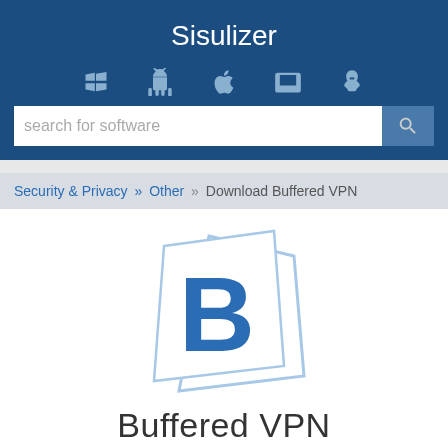Sisulizer
[Figure (screenshot): Navigation icons: Windows, Android, Apple, Tablet, Linux]
search for software
Security & Privacy » Other » Download Buffered VPN
[Figure (logo): Buffered VPN logo - stylized letter B in blue]
Buffered VPN
by Buffered